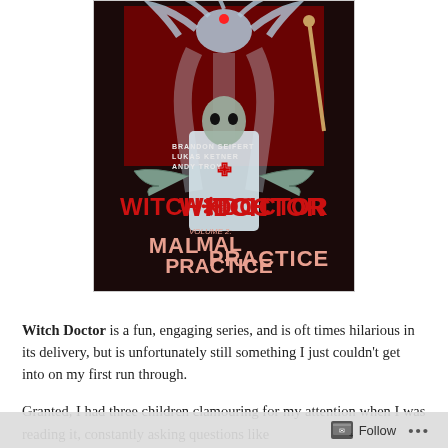[Figure (illustration): Book cover for 'Witch Doctor Volume 2: Mal Practice' by Brandon Seifert, Lukas Ketner, Andy Troy. Features a horror-themed illustration with a demonic figure at the top, a white-coated character in the center, and red text reading 'WITCH DOCTOR' with a medical symbol, and 'Volume 2: MAL PRACTICE' below.]
Witch Doctor is a fun, engaging series, and is oft times hilarious in its delivery, but is unfortunately still something I just couldn't get into on my first run through.
Granted, I had three children clamouring for my attention when I was reading it, constantly asking questions like